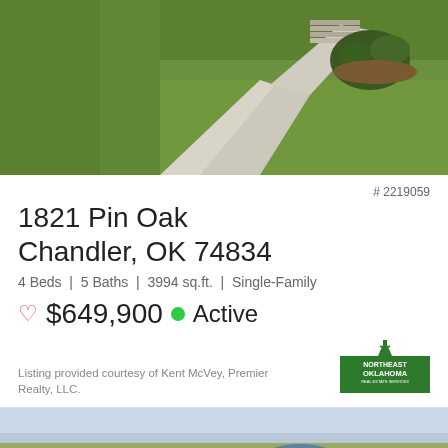[Figure (photo): Aerial view of property driveway with green lawn, concrete path, steps and landscaping]
# 2219059
1821 Pin Oak
Chandler, OK 74834
4 Beds | 5 Baths | 3994 sq.ft. | Single-Family
♡ $649,900 ● Active
Listing provided courtesy of Kent McVey, Premier Realty, LLC.
[Figure (logo): Northeast Oklahoma Real Estate Services logo]
[Figure (photo): Aerial view of rural farm property with red barns, outbuildings, and open fields]